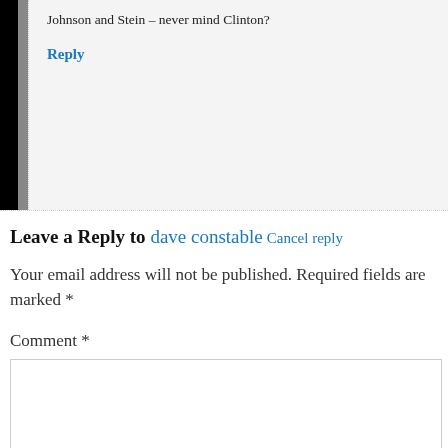Johnson and Stein – never mind Clinton?
Reply
Leave a Reply to dave constable Cancel reply
Your email address will not be published. Required fields are marked *
Comment *